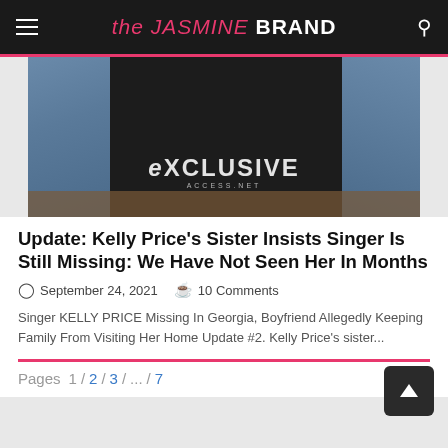the JASMINE BRAND
[Figure (photo): Photo of a person wearing jeans and dark clothing, with EXCLUSIVE ACCESS.NET watermark overlay]
Update: Kelly Price's Sister Insists Singer Is Still Missing: We Have Not Seen Her In Months
September 24, 2021   10 Comments
Singer KELLY PRICE Missing In Georgia, Boyfriend Allegedly Keeping Family From Visiting Her Home Update #2. Kelly Price's sister...
Pages  1  /  2  /  3  /  ...  /  7